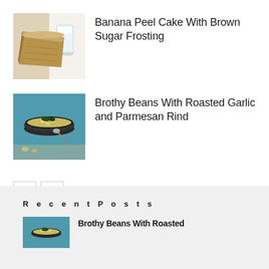[Figure (photo): Photo of a slice of banana peel cake next to a glass of milk on a white background]
Banana Peel Cake With Brown Sugar Frosting
[Figure (photo): Photo of a bowl of brothy beans with roasted garlic and parmesan rind, with a teal/blue background]
Brothy Beans With Roasted Garlic and Parmesan Rind
Recent Posts
[Figure (photo): Thumbnail photo of brothy beans dish]
Brothy Beans With Roasted